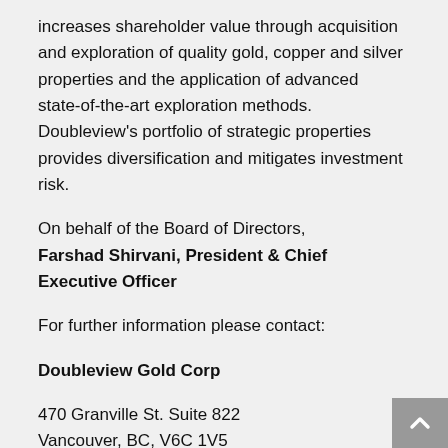increases shareholder value through acquisition and exploration of quality gold, copper and silver properties and the application of advanced state-of-the-art exploration methods. Doubleview's portfolio of strategic properties provides diversification and mitigates investment risk.
On behalf of the Board of Directors,
Farshad Shirvani, President & Chief Executive Officer
For further information please contact:
Doubleview Gold Corp
470 Granville St. Suite 822
Vancouver, BC, V6C 1V5
Farshad Shirvani, President & CEO
T: (604) 678-9587